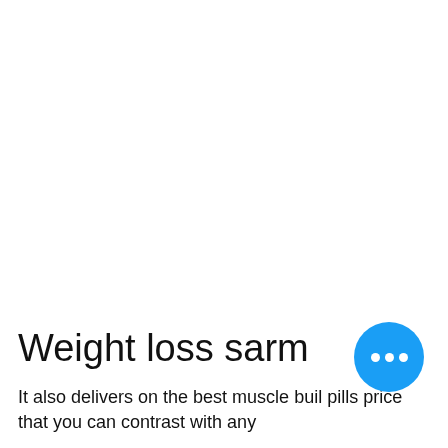Weight loss sarm
It also delivers on the best muscle building pills price that you can contrast with any
[Figure (other): Blue circular FAB button with three white dots (ellipsis menu icon)]